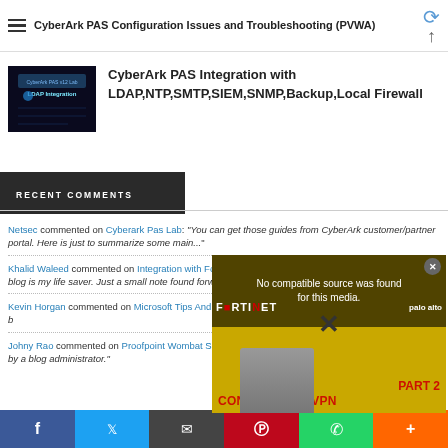CyberArk PAS Configuration Issues and Troubleshooting (PVWA)
CyberArk PAS Integration with LDAP,NTP,SMTP,SIEM,SNMP,Backup,Local Firewall
RECENT COMMENTS
Netsec commented on Cyberark Pas Lab: "You can get those guides from CyberArk customer/partner portal. Here is just to summarize some main..."
Khalid Waleed commented on Integration with Fortinet Fortigate Firewall: "thank you enough ! This blog is my life saver. Just a small note found forwarding..."
Kevin Horgan commented on Microsoft Tips And Tricks Word: "This comment has been removed by a blog administrator."
Johny Rao commented on Proofpoint Wombat Security Education: "This comment has been removed by a blog administrator."
[Figure (screenshot): Video player overlay showing 'No compatible source was found for this media' error message with CONFIG IPSEC VPN text and Fortinet/Palo Alto branding]
Share buttons: Facebook, Twitter, Email, Pinterest, WhatsApp, More